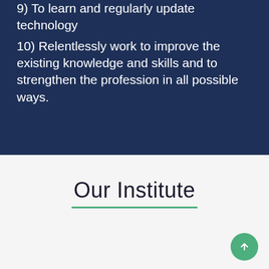9) To learn and regularly update technology
10) Relentlessly work to improve the existing knowledge and skills and to strengthen the profession in all possible ways.
Our Institute